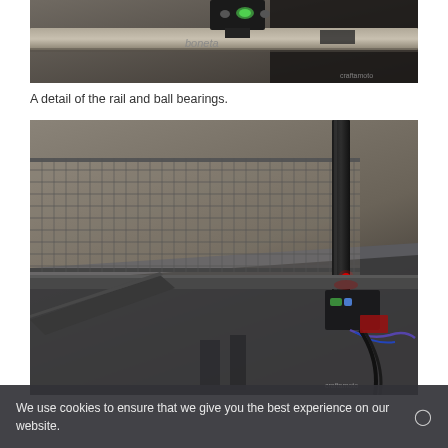[Figure (photo): Close-up detail photograph of a rail and ball bearings mechanism on a table tennis table, with black rail hardware, green accent on bearing, and metallic components visible. Watermark 'craftamoto' in bottom right.]
A detail of the rail and ball bearings.
[Figure (photo): Photograph of a table tennis net and post assembly, showing the net mesh structure, a black upright post, a red LED indicator light, and a sensor/electronic component with green and purple wiring attached to the net post on the table edge. Watermark 'craftamoto' in bottom right.]
We use cookies to ensure that we give you the best experience on our website.